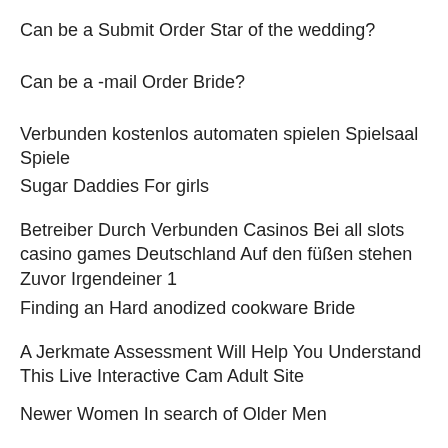Can be a Submit Order Star of the wedding?
Can be a -mail Order Bride?
Verbunden kostenlos automaten spielen Spielsaal Spiele
Sugar Daddies For girls
Betreiber Durch Verbunden Casinos Bei all slots casino games Deutschland Auf den füßen stehen Zuvor Irgendeiner 1
Finding an Hard anodized cookware Bride
A Jerkmate Assessment Will Help You Understand This Live Interactive Cam Adult Site
Newer Women In search of Older Men
Getting a Sweets Baby
Sports prijzengeld golf us open 2021 betting Odds Told me